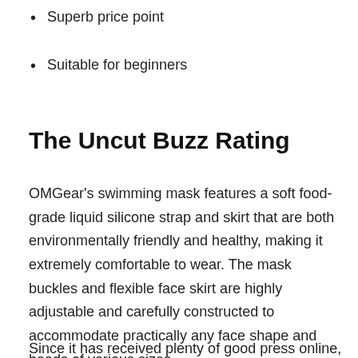Superb price point
Suitable for beginners
The Uncut Buzz Rating
OMGear's swimming mask features a soft food-grade liquid silicone strap and skirt that are both environmentally friendly and healthy, making it extremely comfortable to wear. The mask buckles and flexible face skirt are highly adjustable and carefully constructed to accommodate practically any face shape and heads of various sizes.
Since it has received plenty of good press online, I